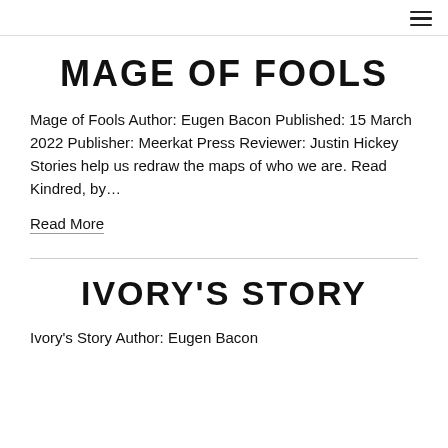≡
MAGE OF FOOLS
Mage of Fools Author: Eugen Bacon Published: 15 March 2022 Publisher: Meerkat Press Reviewer: Justin Hickey Stories help us redraw the maps of who we are. Read Kindred, by…
Read More
IVORY'S STORY
Ivory's Story Author: Eugen Bacon